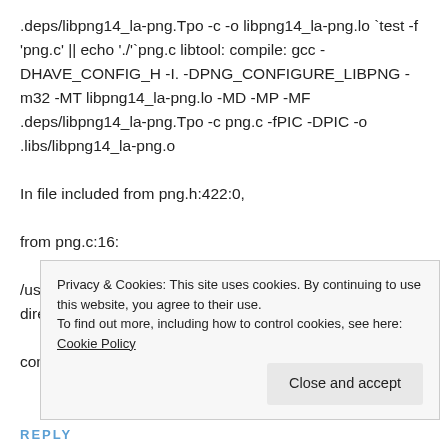.deps/libpng14_la-png.Tpo -c -o libpng14_la-png.lo `test -f 'png.c' || echo './'`png.c libtool: compile: gcc -DHAVE_CONFIG_H -I. -DPNG_CONFIGURE_LIBPNG -m32 -MT libpng14_la-png.lo -MD -MP -MF .deps/libpng14_la-png.Tpo -c png.c -fPIC -DPIC -o .libs/libpng14_la-png.o
In file included from png.h:422:0,
from png.c:16:
/usr/include/zlib.h:34:19: fatal error: zconf.h: No such file or directory
compilation terminated.
Privacy & Cookies: This site uses cookies. By continuing to use this website, you agree to their use.
To find out more, including how to control cookies, see here: Cookie Policy
Close and accept
REPLY